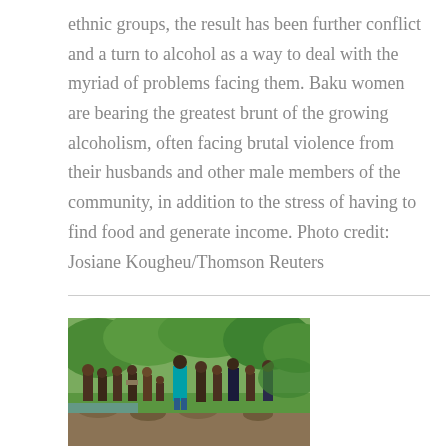ethnic groups, the result has been further conflict and a turn to alcohol as a way to deal with the myriad of problems facing them. Baku women are bearing the greatest brunt of the growing alcoholism, often facing brutal violence from their husbands and other male members of the community, in addition to the stress of having to find food and generate income. Photo credit: Josiane Kougheu/Thomson Reuters
[Figure (photo): A group of people gathered outdoors near a rocky stream or riverbed, surrounded by lush green vegetation and trees. A man in a teal/turquoise shirt stands prominently in the center, facing the group.]